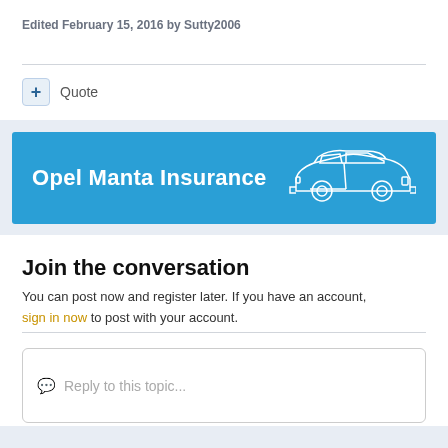Edited February 15, 2016 by Sutty2006
[Figure (infographic): Opel Manta Insurance advertisement banner with blue background and car outline illustration on right side]
Join the conversation
You can post now and register later. If you have an account, sign in now to post with your account.
Reply to this topic...